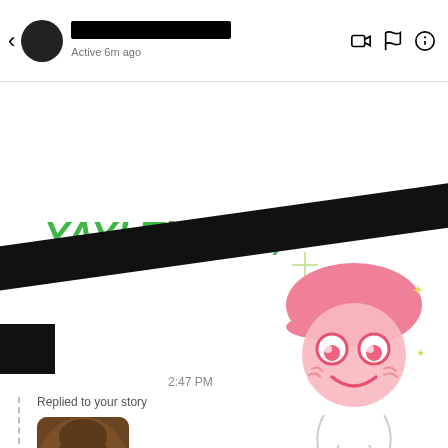Active 6m ago
[Figure (screenshot): Instagram/Facebook DM conversation screenshot. Shows 'YAY! Thanks,' in bold green italic text, a cute pink cartoon face sticker wearing a baseball cap with sparkles, a black diagonal redaction bar, timestamp '2:47 PM', and a 'Replied to your story' section with a thumbnail of a woman with glasses.]
YAY! Thanks,
2:47 PM
Replied to your story